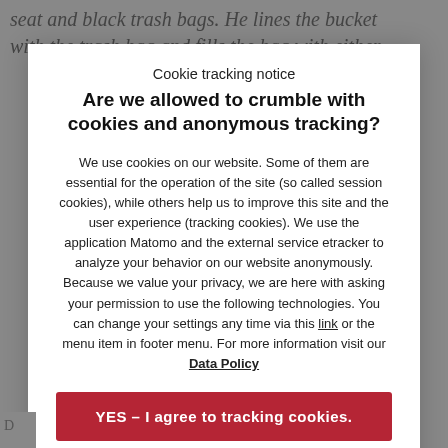seat and black trash bags. He lines the bucket with the trash bag and fills the bag with either
Cookie tracking notice
Are we allowed to crumble with cookies and anonymous tracking?
We use cookies on our website. Some of them are essential for the operation of the site (so called session cookies), while others help us to improve this site and the user experience (tracking cookies). We use the application Matomo and the external service etracker to analyze your behavior on our website anonymously. Because we value your privacy, we are here with asking your permission to use the following technologies. You can change your settings any time via this link or the menu item in footer menu. For more information visit our Data Policy
YES – I agree to tracking cookies.
No thanks – I agree to session cookies